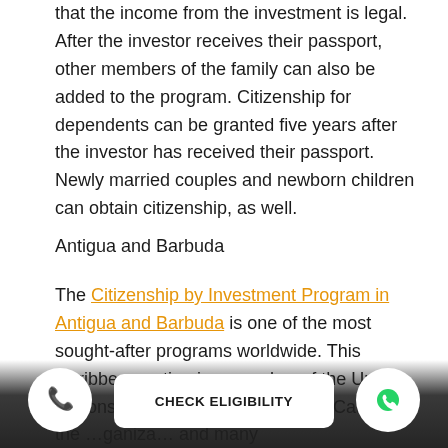that the income from the investment is legal. After the investor receives their passport, other members of the family can also be added to the program. Citizenship for dependents can be granted five years after the investor has received their passport. Newly married couples and newborn children can obtain citizenship, as well.
Antigua and Barbuda
The Citizenship by Investment Program in Antigua and Barbuda is one of the most sought-after programs worldwide. This Caribbean nation is a member of the United Nations, the …sh Commonwealth, Caricom, the …ganiza… and many
[Figure (other): Bottom overlay with phone call button (yellow phone icon), CHECK ELIGIBILITY button, and WhatsApp button (green WhatsApp icon) on a dark gradient bar]